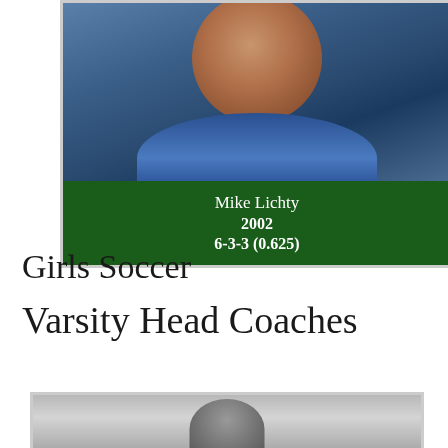[Figure (photo): Headshot photo of Mike Lichty wearing a blue denim jacket over a dark green shirt, with a dark green info banner below showing name, year and record]
Mike Lichty
2002
6-3-3 (0.625)
Girls Soccer
Varsity Head Coaches
[Figure (photo): Partial headshot photo of an unidentified person, cropped at bottom of page, gray background]